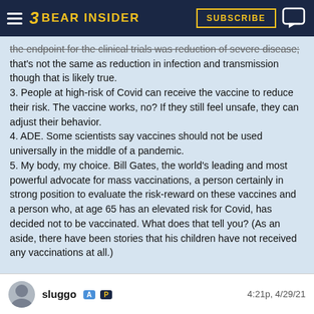Bear Insider — Subscribe
the endpoint for the clinical trials was reduction of severe disease; that's not the same as reduction in infection and transmission though that is likely true.
3. People at high-risk of Covid can receive the vaccine to reduce their risk. The vaccine works, no? If they still feel unsafe, they can adjust their behavior.
4. ADE. Some scientists say vaccines should not be used universally in the middle of a pandemic.
5. My body, my choice. Bill Gates, the world's leading and most powerful advocate for mass vaccinations, a person certainly in strong position to evaluate the risk-reward on these vaccines and a person who, at age 65 has an elevated risk for Covid, has decided not to be vaccinated. What does that tell you? (As an aside, there have been stories that his children have not received any vaccinations at all.)

I'm not against vaccinations, but I'm not convinced that these particular vaccines are right for everyone right now, especially my two teenage boys.
sluggo A P — 4:21p, 4/29/21